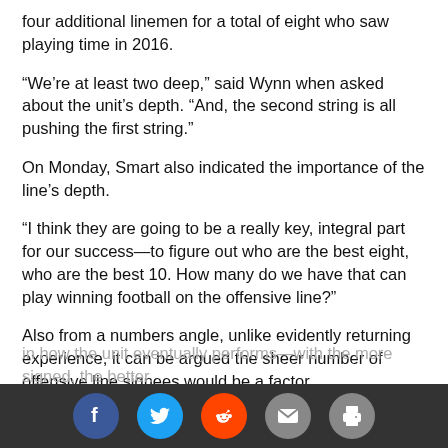four additional linemen for a total of eight who saw playing time in 2016.
“We’re at least two deep,” said Wynn when asked about the unit’s depth. “And, the second string is all pushing the first string.”
On Monday, Smart also indicated the importance of the line’s depth.
“I think they are going to be a really key, integral part for our success—to figure out who are the best eight, who are the best 10. How many do we have that can play winning football on the offensive line?”
Also from a numbers angle, unlike evidently returning experience, it can be argued the sheer number of offensive line signees would be a factor in how the unit eventually performs—with the more signed, the better.